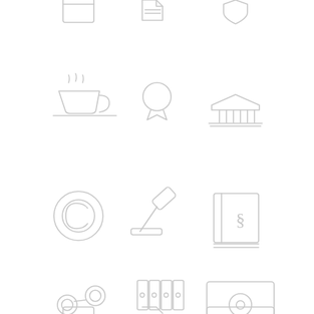[Figure (illustration): Grid of legal-themed outline icons: tablet/document, paper/document, shield, coffee cup, medal/badge, courthouse/bank building, copyright symbol, judge's gavel, law book with paragraph symbol, handcuffs, row of books/binders, safe/vault, and partial icons at bottom]
[Figure (illustration): Tablet icon (top left)]
[Figure (illustration): Document/paper icon (top center)]
[Figure (illustration): Shield icon (top right)]
[Figure (illustration): Coffee cup with steam icon (row 2 left)]
[Figure (illustration): Medal/badge circle icon (row 2 center)]
[Figure (illustration): Courthouse/bank building icon (row 2 right)]
[Figure (illustration): Copyright symbol circle icon (row 3 left)]
[Figure (illustration): Judge's gavel/hammer icon (row 3 center)]
[Figure (illustration): Law book with paragraph symbol icon (row 3 right)]
[Figure (illustration): Handcuffs icon (row 4 left)]
[Figure (illustration): Row of books/binders icon (row 4 center)]
[Figure (illustration): Safe/vault icon (row 4 right)]
[Figure (illustration): Partial icons at bottom row]